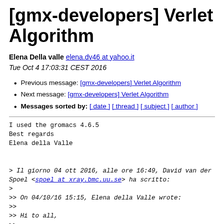[gmx-developers] Verlet Algorithm
Elena Della valle elena.dv46 at yahoo.it
Tue Oct 4 17:03:31 CEST 2016
Previous message: [gmx-developers] Verlet Algorithm
Next message: [gmx-developers] Verlet Algorithm
Messages sorted by: [ date ] [ thread ] [ subject ] [ author ]
I used the gromacs 4.6.5
Best regards
Elena della Valle

> Il giorno 04 ott 2016, alle ore 16:49, David van der Spoel <spoel at xray.bmc.uu.se> ha scritto:
>
>> On 04/10/16 15:15, Elena della Valle wrote:
>>
>> Hi to all,
>>
>> I'm Elena della Valle, a Ph.D. student coming from la Sapienza